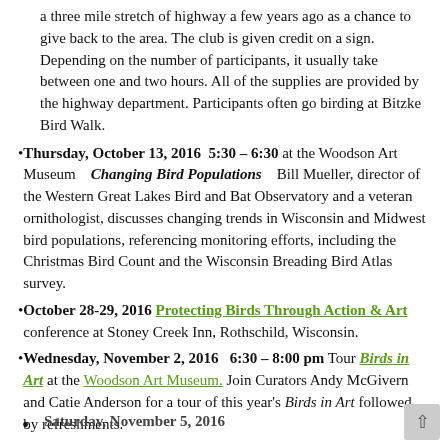a three mile stretch of highway a few years ago as a chance to give back to the area. The club is given credit on a sign. Depending on the number of participants, it usually take between one and two hours. All of the supplies are provided by the highway department. Participants often go birding at Bitzke Bird Walk.
Thursday, October 13, 2016  5:30 – 6:30 at the Woodson Art Museum   Changing Bird Populations   Bill Mueller, director of the Western Great Lakes Bird and Bat Observatory and a veteran ornithologist, discusses changing trends in Wisconsin and Midwest bird populations, referencing monitoring efforts, including the Christmas Bird Count and the Wisconsin Breading Bird Atlas survey.
October 28-29, 2016  Protecting Birds Through Action & Art  conference at Stoney Creek Inn, Rothschild, Wisconsin.
Wednesday, November 2, 2016  6:30 – 8:00 pm Tour Birds in Art at the Woodson Art Museum. Join Curators Andy McGivern and Catie Anderson for a tour of this year's Birds in Art followed by refreshments.